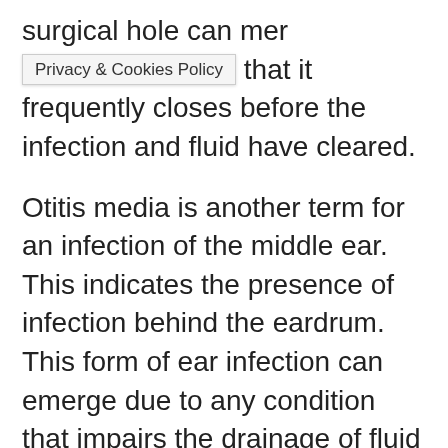surgical hole can mer [Privacy & Cookies Policy] that it frequently closes before the infection and fluid have cleared.
Otitis media is another term for an infection of the middle ear. This indicates the presence of infection behind the eardrum. This form of ear infection can emerge due to any condition that impairs the drainage of fluid from the middle ear. These ailments include allergies, a cold, a sore throat, or a respiratory infection. While children are more likely to get middle ear infections, they can occur in adults as well. Adults with a middle ear infection may have a more severe infection than children with the same infection. You should get medical assistance if you have an ear infection.
The majority of ear infections do not have long-term